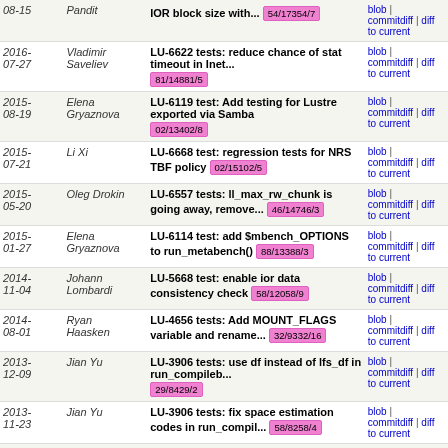| Date | Author | Message | Links |
| --- | --- | --- | --- |
| 08-15 | Pandit | IOR block size with... 54/17354/7 | blob | commitdiff | diff to current |
| 2016-07-27 | Vladimir Saveliev | LU-6622 tests: reduce chance of stat timeout in Inet... 81/14881/5 | blob | commitdiff | diff to current |
| 2015-08-19 | Elena Gryaznova | LU-6119 test: Add testing for Lustre exported via Samba 02/13402/8 | blob | commitdiff | diff to current |
| 2015-07-21 | Li Xi | LU-6668 test: regression tests for NRS TBF policy 02/15102/5 | blob | commitdiff | diff to current |
| 2015-05-20 | Oleg Drokin | LU-6557 tests: ll_max_rw_chunk is going away, remove... 46/14746/3 | blob | commitdiff | diff to current |
| 2015-01-27 | Elena Gryaznova | LU-6114 test: add $mbench_OPTIONS to run_metabench() 88/13388/3 | blob | commitdiff | diff to current |
| 2014-11-04 | Johann Lombardi | LU-5668 test: enable ior data consistency check 58/12058/9 | blob | commitdiff | diff to current |
| 2014-08-01 | Ryan Haasken | LU-4656 tests: Add MOUNT_FLAGS variable and rename... 32/9332/16 | blob | commitdiff | diff to current |
| 2013-12-09 | Jian Yu | LU-3906 tests: use df instead of lfs_df in run_compileb... 29/8429/2 | blob | commitdiff | diff to current |
| 2013-11-23 | Jian Yu | LU-3906 tests: fix space estimation codes in run_compil... 58/8258/4 | blob | commitdiff | diff to current |
| 2013-11-29 | Stephen Champion | LU-4123 tests: use nodename in check_write_access... | blob | commitdiff |